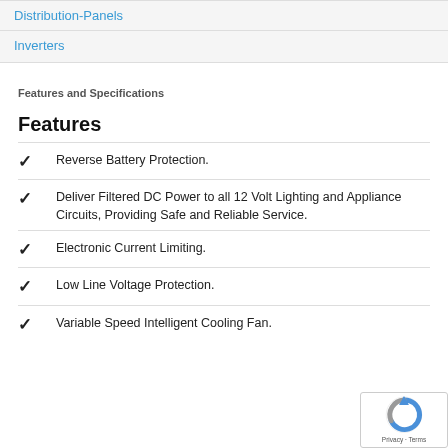Distribution-Panels
Inverters
Features and Specifications
Features
Reverse Battery Protection.
Deliver Filtered DC Power to all 12 Volt Lighting and Appliance Circuits, Providing Safe and Reliable Service.
Electronic Current Limiting.
Low Line Voltage Protection.
Variable Speed Intelligent Cooling Fan.